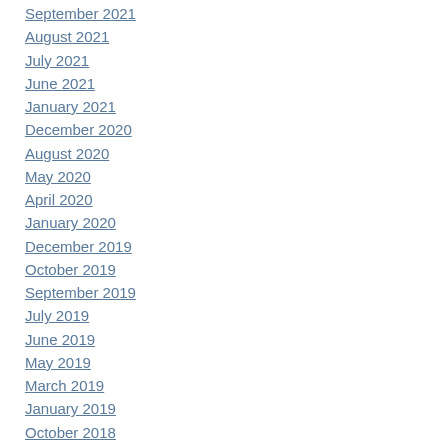September 2021
August 2021
July 2021
June 2021
January 2021
December 2020
August 2020
May 2020
April 2020
January 2020
December 2019
October 2019
September 2019
July 2019
June 2019
May 2019
March 2019
January 2019
October 2018